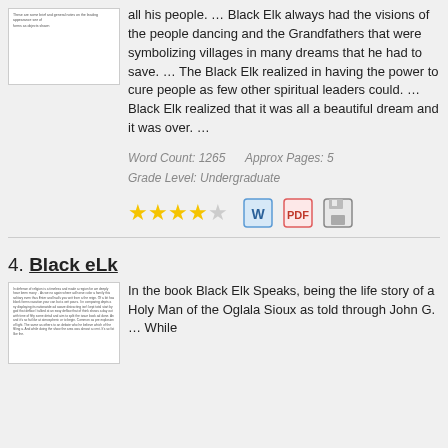[Figure (illustration): Thumbnail image of a document page with small text]
all his people. … Black Elk always had the visions of the people dancing and the Grandfathers that were symbolizing villages in many dreams that he had to save. … The Black Elk realized in having the power to cure people as few other spiritual leaders could. … Black Elk realized that it was all a beautiful dream and it was over. …
Word Count: 1265    Approx Pages: 5
Grade Level: Undergraduate
[Figure (infographic): 4 filled gold stars and 1 empty star rating, plus Word doc, PDF, and save icons]
4. Black eLk
[Figure (illustration): Thumbnail image of a document page with small text]
In the book Black Elk Speaks, being the life story of a Holy Man of the Oglala Sioux as told through John G. … While